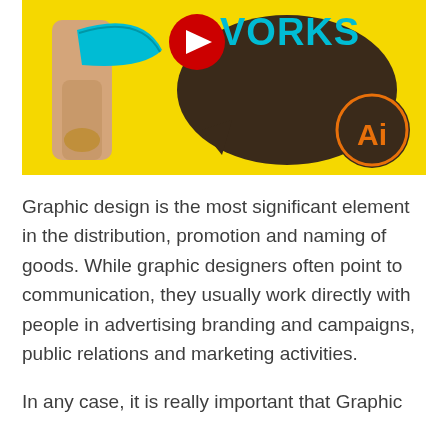[Figure (screenshot): YouTube thumbnail image with yellow background. A hand holding a cyan/blue banana is shown on the left. On the right side there is a YouTube play button (red circle with white triangle), the word 'VORKS' in bold cyan text, a dark brown speech bubble shape, and an Adobe Illustrator 'Ai' logo (orange circle with dark brown background and orange 'Ai' text).]
Graphic design is the most significant element in the distribution, promotion and naming of goods. While graphic designers often point to communication, they usually work directly with people in advertising branding and campaigns, public relations and marketing activities.
In any case, it is really important that Graphic